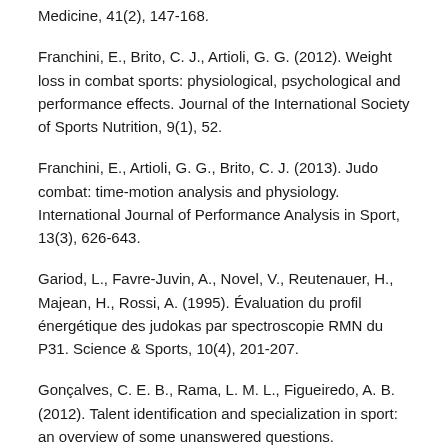Medicine, 41(2), 147-168.
Franchini, E., Brito, C. J., Artioli, G. G. (2012). Weight loss in combat sports: physiological, psychological and performance effects. Journal of the International Society of Sports Nutrition, 9(1), 52.
Franchini, E., Artioli, G. G., Brito, C. J. (2013). Judo combat: time-motion analysis and physiology. International Journal of Performance Analysis in Sport, 13(3), 626-643.
Gariod, L., Favre-Juvin, A., Novel, V., Reutenauer, H., Majean, H., Rossi, A. (1995). Évaluation du profil énergétique des judokas par spectroscopie RMN du P31. Science & Sports, 10(4), 201-207.
Gonçalves, C. E. B., Rama, L. M. L., Figueiredo, A. B. (2012). Talent identification and specialization in sport: an overview of some unanswered questions. International Journal of Sports